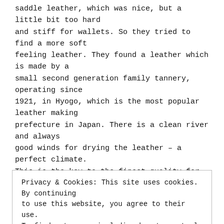saddle leather, which was nice, but a little bit too hard and stiff for wallets. So they tried to find a more soft feeling leather. They found a leather which is made by a small second generation family tannery, operating since 1921, in Hyogo, which is the most popular leather making prefecture in Japan. There is a clean river and always good winds for drying the leather – a perfect climate. This is the key to the finest quality for RINOUMA's leather. It is a 3.3 to 3,7 mm thick steer hide leather. Craftsman add oil to the leather by hand for a varnishing finish. So the wallets get this so nice touch and feel. The brown color is also very clean and beautiful dyed. RINOUMA just uses premium Japanese brass parts. The zips run easy and the buttons work perfect. Men, take a look at these nice hooks. The key hook and the one with the wallet chain have a light bend, and so they hang perfect
Privacy & Cookies: This site uses cookies. By continuing to use this website, you agree to their use.
To find out more, including how to control cookies, see here: Cookie Policy
Close and accept
the great Japanese RINOUMA stuff, please write Kami owner